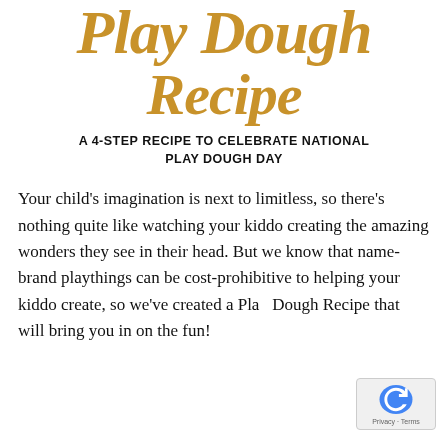Play Dough Recipe
A 4-STEP RECIPE TO CELEBRATE NATIONAL PLAY DOUGH DAY
Your child's imagination is next to limitless, so there's nothing quite like watching your kiddo creating the amazing wonders they see in their head. But we know that name-brand playthings can be cost-prohibitive to helping your kiddo create, so we've created a Play Dough Recipe that will bring you in on the fun!